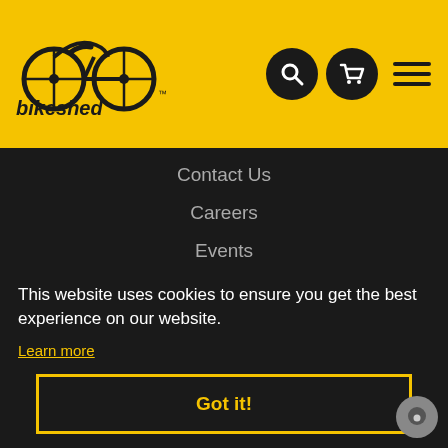[Figure (logo): Bikeshed logo with bicycle wheel graphic and 'bikeshed' text in black on yellow background]
Contact Us
Careers
Events
Privacy Policy
Terms & Conditions
This website uses cookies to ensure you get the best experience on our website.
Learn more
Got it!